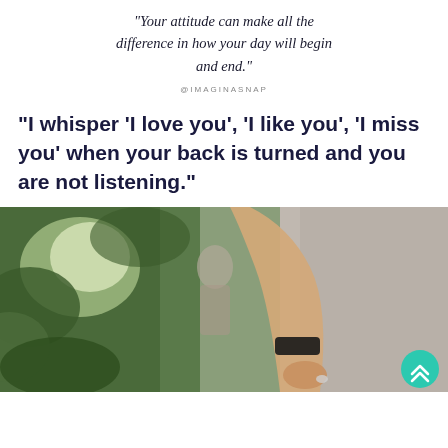"Your attitude can make all the difference in how your day will begin and end."
@IMAGINASNAP
"I whisper ‘I love you’, ‘I like you’, ‘I miss you’ when your back is turned and you are not listening."
[Figure (photo): A person with a wristband holding something small in their hand, with another person blurred in the background among green trees]